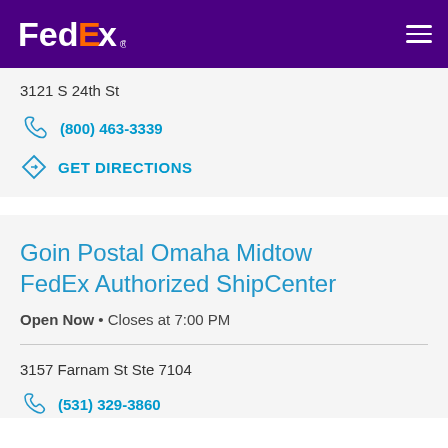FedEx
3121 S 24th St
(800) 463-3339
GET DIRECTIONS
Goin Postal Omaha Midtow FedEx Authorized ShipCenter
Open Now • Closes at 7:00 PM
3157 Farnam St Ste 7104
(531) 329-3860